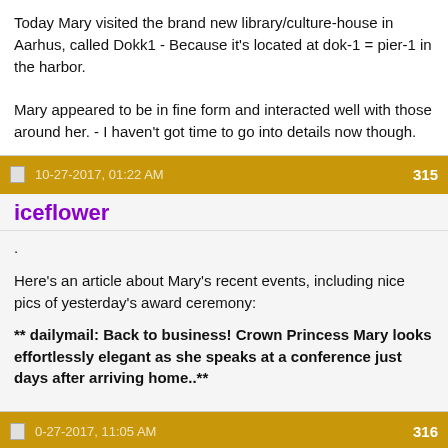Today Mary visited the brand new library/culture-house in Aarhus, called Dokk1 - Because it's located at dok-1 = pier-1 in the harbor.

Mary appeared to be in fine form and interacted well with those around her. - I haven't got time to go into details now though.
10-27-2017, 01:22 AM   315
iceflower
.

Here's an article about Mary's recent events, including nice pics of yesterday's award ceremony:

** dailymail: Back to business! Crown Princess Mary looks effortlessly elegant as she speaks at a conference just days after arriving home..**
0-27-2017, 11:05 AM   316
Roskilde